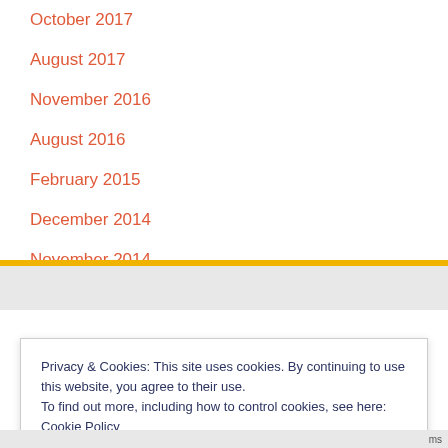October 2017
August 2017
November 2016
August 2016
February 2015
December 2014
November 2014
October 2014
Privacy & Cookies: This site uses cookies. By continuing to use this website, you agree to their use. To find out more, including how to control cookies, see here: Cookie Policy
Close and accept